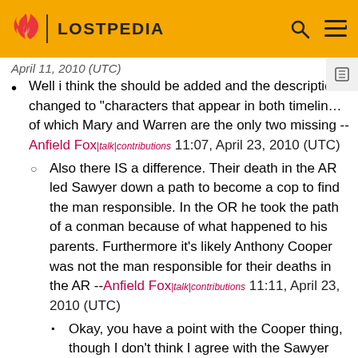LOSTPEDIA
April 11, 2010 (UTC) [truncated]
Well i think the should be added and the description changed to "characters that appear in both timelines, of which Mary and Warren are the only two missing -- Anfield Fox | talk | contributions  11:07, April 23, 2010 (UTC)
Also there IS a difference. Their death in the AR led Sawyer down a path to become a cop to find the man responsible. In the OR he took the path of a conman because of what happened to his parents. Furthermore it's likely Anthony Cooper was not the man responsible for their deaths in the AR --Anfield Fox | talk | contributions  11:11, April 23, 2010 (UTC)
Okay, you have a point with the Cooper thing, though I don't think I agree with the Sawyer